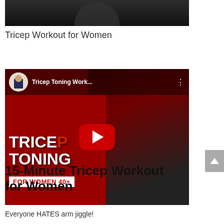[Figure (photo): Partial photo of a person (arm/body silhouette) against a dark background, cropped at top of page]
Tricep Workout for Women
[Figure (screenshot): YouTube video thumbnail for 'Tricep Toning Work...' featuring a woman doing tricep exercises with dumbbells, red background with text 'TRICEP TONING FOR WOMEN 40+', large red play button in center, channel avatar in top left]
15-Minute Tricep Workout for Women
Everyone HATES arm jiggle!